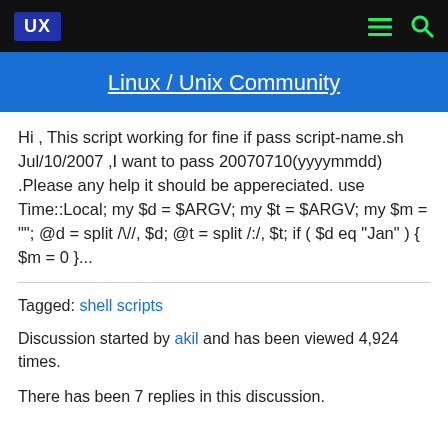UX  [menu icon]  [search icon]
Linux / Unix Community
Hi , This script working for fine if pass script-name.sh Jul/10/2007 ,I want to pass 20070710(yyyymmdd) .Please any help it should be appereciated. use Time::Local; my $d = $ARGV; my $t = $ARGV; my $m = ""; @d = split /\//,  $d; @t = split /:/,  $t; if ( $d eq "Jan" ) { $m = 0 }...
Tagged: shell scripts
Discussion started by akil and has been viewed 4,924 times.
There has been 7 replies in this discussion.